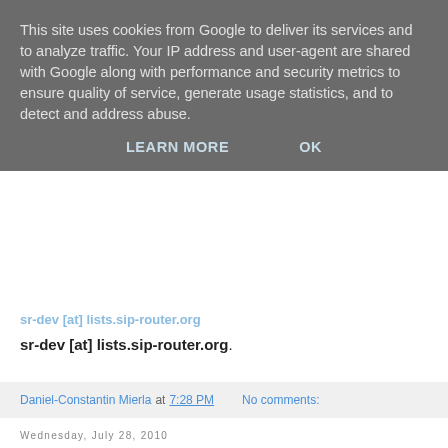This site uses cookies from Google to deliver its services and to analyze traffic. Your IP address and user-agent are shared with Google along with performance and security metrics to ensure quality of service, generate usage statistics, and to detect and address abuse.
LEARN MORE    OK
sr-dev [at] lists.sip-router.org.
Daniel-Constantin Mierla at 7:28 PM    No comments:
Wednesday, July 28, 2010
Two years Kamailio
On July 28, 2008, OpenSER project was renamed to Kamailio (email announcement), so here we are, two years later.